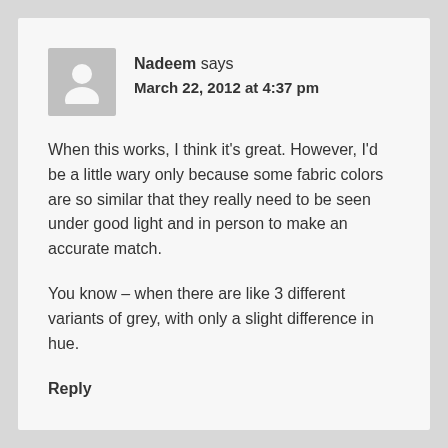Nadeem says
March 22, 2012 at 4:37 pm
When this works, I think it's great. However, I'd be a little wary only because some fabric colors are so similar that they really need to be seen under good light and in person to make an accurate match.
You know – when there are like 3 different variants of grey, with only a slight difference in hue.
Reply